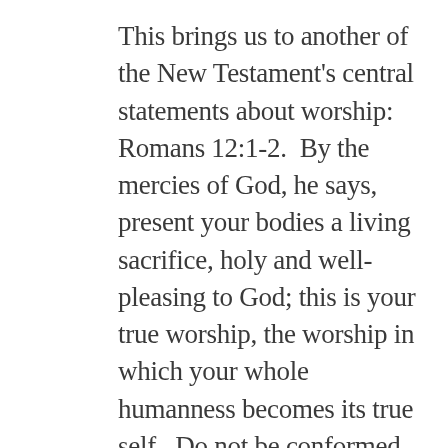This brings us to another of the New Testament's central statements about worship: Romans 12:1-2.  By the mercies of God, he says, present your bodies a living sacrifice, holy and well-pleasing to God; this is your true worship, the worship in which your whole humanness becomes its true self.  Do not be conformed to this world, but be transformed by the renewing of your mind, so that you can judge for yourselves what God's will is, what is good, and well-pleasing, and perfect.  Body and mind are to work together: again, no smell of dualism here.  And, with grace and mercy as the bedrock of it all, we are to explore, in presenting our bodies as the true act of worship, what it means to be “well-pleasing” to God.  Heirs of the Reformation (including the present writer) are so drilled in justification by faith, which is of course one of the fundamental teachings of this